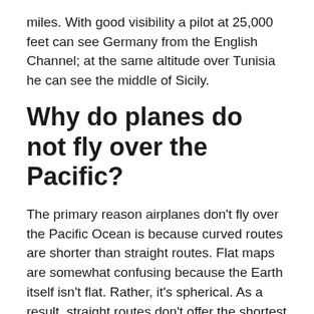miles. With good visibility a pilot at 25,000 feet can see Germany from the English Channel; at the same altitude over Tunisia he can see the middle of Sicily.
Why do planes do not fly over the Pacific?
The primary reason airplanes don't fly over the Pacific Ocean is because curved routes are shorter than straight routes. Flat maps are somewhat confusing because the Earth itself isn't flat. Rather, it's spherical. As a result, straight routes don't offer the shortest distance between two locations.
Can a plane be seen